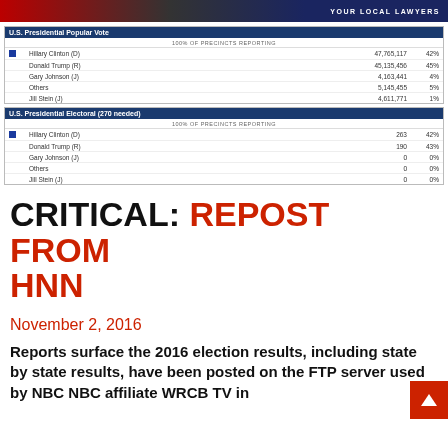YOUR LOCAL LAWYERS
| U.S. Presidential Popular Vote |  | 100% OF PRECINCTS REPORTING |  |
| --- | --- | --- | --- |
| Hillary Clinton (D) |  | 47,765,117 | 42% |
| Donald Trump (R) |  | 45,135,456 | 45% |
| Gary Johnson (J) |  | 4,163,441 | 4% |
| Others |  | 5,145,455 | 5% |
| Jill Stein (J) |  | 4,611,771 | 1% |
| U.S. Presidential Electoral (270 needed) |  | 100% OF PRECINCTS REPORTING |  |
| --- | --- | --- | --- |
| Hillary Clinton (D) |  | 263 | 42% |
| Donald Trump (R) |  | 190 | 43% |
| Gary Johnson (J) |  | 0 | 0% |
| Others |  | 0 | 0% |
| Jill Stein (J) |  | 0 | 0% |
CRITICAL: REPOST FROM HNN
November 2, 2016
Reports surface the 2016 election results, including state by state results, have been posted on the FTP server used by NBC NBC affiliate WRCB TV in